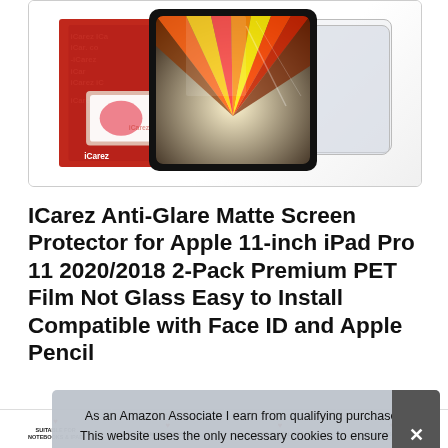[Figure (photo): Product photo showing iCarez screen protector package (red box with iCarez branding), an iPad Pro 11-inch device with colorful abstract screen, and two transparent screen protector sheets]
ICarez Anti-Glare Matte Screen Protector for Apple 11-inch iPad Pro 11 2020/2018 2-Pack Premium PET Film Not Glass Easy to Install Compatible with Face ID and Apple Pencil
#ad
As an Amazon Associate I earn from qualifying purchases. This website uses the only necessary cookies to ensure you get the best experience on our website. More information